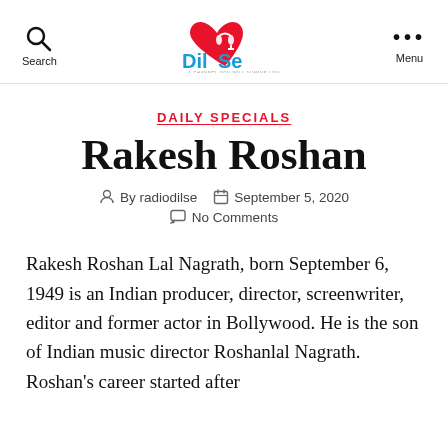Search | Dil Se | Menu
DAILY SPECIALS
Rakesh Roshan
By radiodilse   September 5, 2020   No Comments
Rakesh Roshan Lal Nagrath, born September 6, 1949 is an Indian producer, director, screenwriter, editor and former actor in Bollywood. He is the son of Indian music director Roshanlal Nagrath. Roshan's career started after